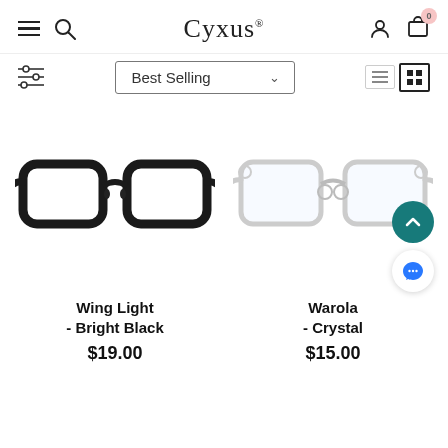Cyxus — navigation header with hamburger menu, search, brand name, user icon, cart (0)
Best Selling (sort dropdown) with filter icon and view toggle
[Figure (photo): Black rectangular eyeglasses (Wing Light - Bright Black) on white background]
[Figure (photo): Clear/crystal rectangular eyeglasses (Warola - Crystal) on white background]
Wing Light - Bright Black
$19.00
Warola - Crystal
$15.00